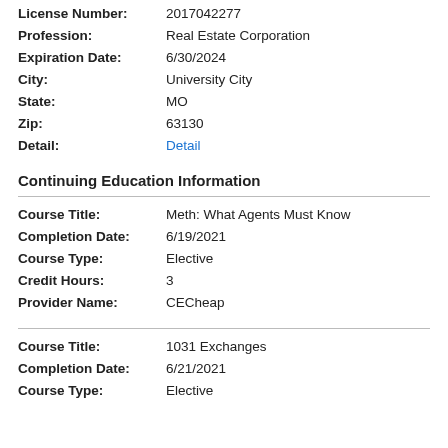License Number: 2017042277
Profession: Real Estate Corporation
Expiration Date: 6/30/2024
City: University City
State: MO
Zip: 63130
Detail: Detail
Continuing Education Information
Course Title: Meth: What Agents Must Know
Completion Date: 6/19/2021
Course Type: Elective
Credit Hours: 3
Provider Name: CECheap
Course Title: 1031 Exchanges
Completion Date: 6/21/2021
Course Type: Elective